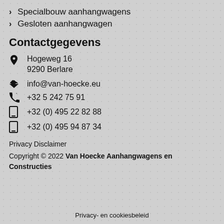Specialbouw aanhangwagens
Gesloten aanhangwagen
Contactgegevens
Hogeweg 16
9290 Berlare
info@van-hoecke.eu
+32 5 242 75 91
+32 (0) 495 22 82 88
+32 (0) 495 94 87 34
Privacy Disclaimer
Copyright © 2022 Van Hoecke Aanhangwagens en Constructies
Privacy- en cookiesbeleid